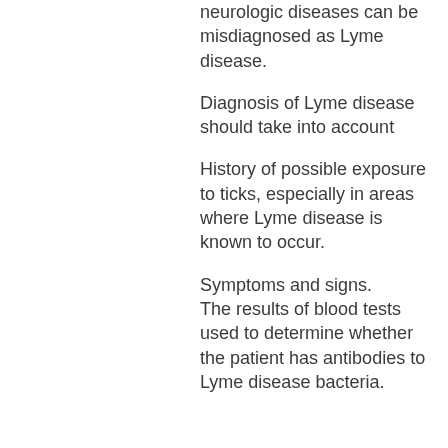neurologic diseases can be misdiagnosed as Lyme disease.
Diagnosis of Lyme disease should take into account
History of possible exposure to ticks, especially in areas where Lyme disease is known to occur.
Symptoms and signs.
The results of blood tests used to determine whether the patient has antibodies to Lyme disease bacteria.